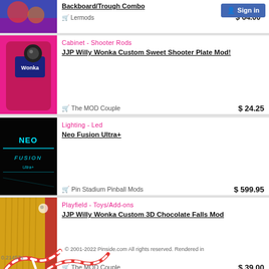[Figure (photo): Partial product thumbnail at top, colorful pinball machine image]
Backboard/Trough Combo
Lermods   $ 64.00
[Figure (photo): JJP Willy Wonka shooter plate mod product image on pink background]
Cabinet - Shooter Rods
JJP Willy Wonka Custom Sweet Shooter Plate Mod!
The MOD Couple   $ 24.25
[Figure (photo): Neo Fusion Ultra+ LED lighting mod, dark background with neon text logo]
Lighting - Led
Neo Fusion Ultra+
Pin Stadium Pinball Mods   $ 599.95
[Figure (photo): JJP Willy Wonka 3D Chocolate Falls mod, gold/brown texture on red background]
Playfield - Toys/Add-ons
JJP Willy Wonka Custom 3D Chocolate Falls Mod
The MOD Couple   $ 39.00
© 2001-2022 Pinside.com All rights reserved. Rendered in
0.21457s